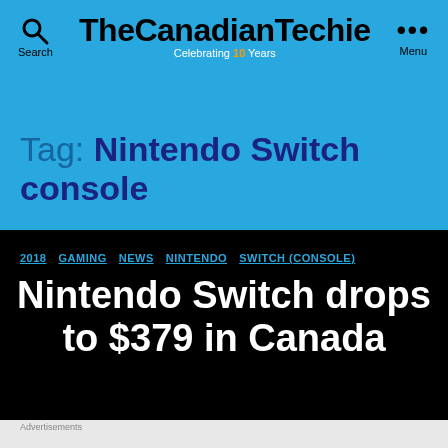TheCanadianTechie — Celebrating 10 Years
Tag: Nintendo Switch console
2018  GAMING  NEWS  NINTENDO  SWITCH (CONSOLE)
Nintendo Switch drops to $379 in Canada
[Figure (infographic): DuckDuckGo advertisement banner: orange background with text 'Search, browse, and email with more privacy. All in One Free App' and DuckDuckGo logo on dark background.]